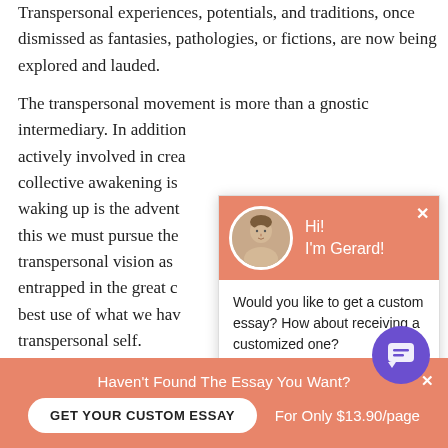Transpersonal experiences, potentials, and traditions, once dismissed as fantasies, pathologies, or fictions, are now being explored and lauded.
The transpersonal movement is more than a gnostic intermediary. In addition actively involved in creating collective awakening is waking up is the advent this we must pursue the transpersonal vision as entrapped in the great best use of what we have transpersonal self.
[Figure (screenshot): Chat popup widget with orange header showing avatar photo of a young man and greeting 'Hi! I'm Gerard!', body text 'Would you like to get a custom essay? How about receiving a customized one?' and 'Check it out' link in bold underline.]
For what we do reflects our beliefs about who a we are ReferenceRetrieved from
[Figure (other): Purple circular chat icon button with speech bubble icon]
Haven't Found The Essay You Want?
GET YOUR CUSTOM ESSAY
For Only $13.90/page